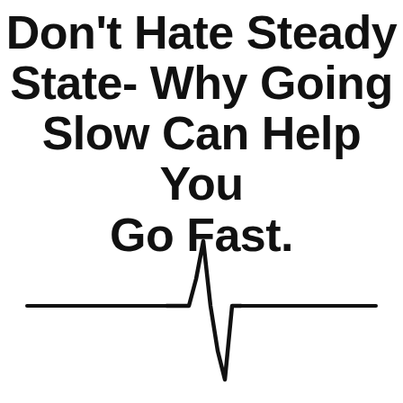Don't Hate Steady State- Why Going Slow Can Help You Go Fast.
[Figure (illustration): A heartbeat / ECG pulse line icon in black on white background, showing a flat horizontal line that spikes up sharply then drops down into a deep V shape and returns to flat.]